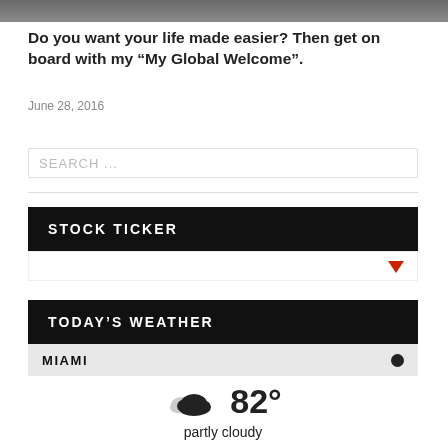[Figure (photo): Partial view of a photo at the top of the page, cropped showing a person with dark background]
Do you want your life made easier? Then get on board with my “My Global Welcome”.
June 28, 2016
SEARCH ...
STOCK TICKER
[Figure (other): Stock ticker widget area with a red down arrow icon on the right]
TODAY'S WEATHER
MIAMI
[Figure (other): Weather widget showing partly cloudy icon and 82 degrees temperature in Miami]
partly cloudy